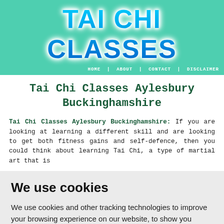TAI CHI CLASSES
HOME | ABOUT | CONTACT | DISCLAIMER
Tai Chi Classes Aylesbury Buckinghamshire
Tai Chi Classes Aylesbury Buckinghamshire: If you are looking at learning a different skill and are looking to get both fitness gains and self-defence, then you could think about learning Tai Chi, a type of martial art that is
We use cookies
We use cookies and other tracking technologies to improve your browsing experience on our website, to show you personalized content and targeted ads, to analyze our website traffic, and